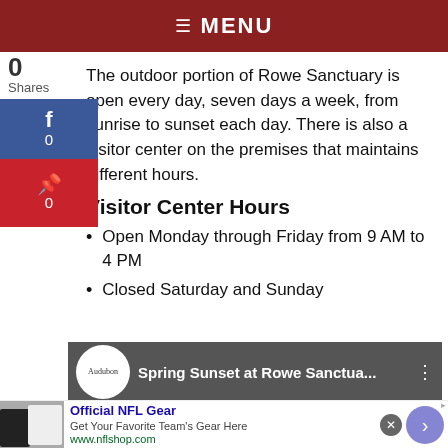☰ MENU
The outdoor portion of Rowe Sanctuary is open every day, seven days a week, from sunrise to sunset each day. There is also a visitor center on the premises that maintains different hours.
Visitor Center Hours
Open Monday through Friday from 9 AM to 4 PM
Closed Saturday and Sunday
[Figure (screenshot): Video thumbnail showing Spring Sunset at Rowe Sanctuary with Audubon logo]
[Figure (screenshot): Advertisement for Official NFL Gear with image of jerseys, text 'Get Your Favorite Team's Gear Here', url www.nflshop.com]